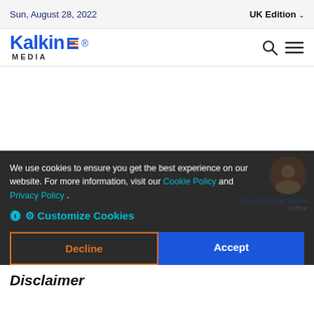Sun, August 28, 2022 | UK Edition
[Figure (logo): Kalkine Media logo with stylized orange globe graphic in the letter E]
We use cookies to ensure you get the best experience on our website. For more information, visit our Cookie Policy and Privacy Policy .
⚙ Customize Cookies
Decline
Accept
Team Kalkine Media
Author
Disclaimer